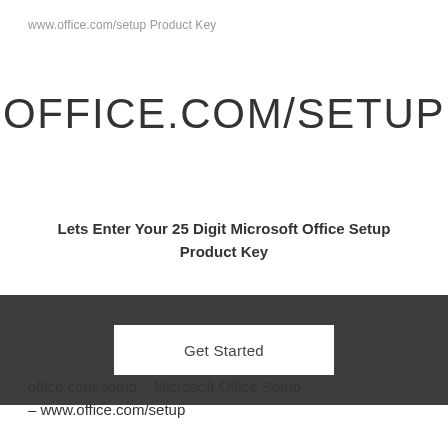www.office.com/setup Product Key
OFFICE.COM/SETUP
Lets Enter Your 25 Digit Microsoft Office Setup Product Key
[Figure (screenshot): Dark grey banner with a white 'Get Started' button centered within it]
office.com/setup – Microsoft Office Setup – www.office.com/setup